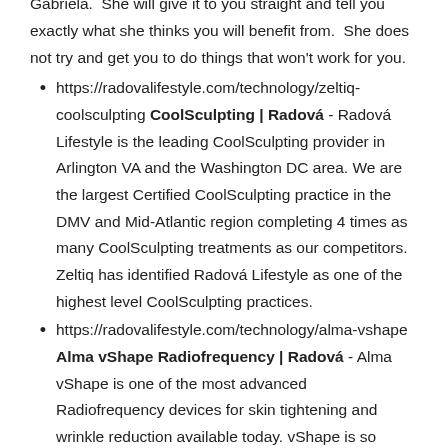even considering one of the procedures that Radová offers, definitely go in for a free consultation with Gabriela. She will give it to you straight and tell you exactly what she thinks you will benefit from. She does not try and get you to do things that won't work for you.
https://radovalifestyle.com/technology/zeltiq-coolsculpting CoolSculpting | Radová - Radová Lifestyle is the leading CoolSculpting provider in Arlington VA and the Washington DC area. We are the largest Certified CoolSculpting practice in the DMV and Mid-Atlantic region completing 4 times as many CoolSculpting treatments as our competitors. Zeltiq has identified Radová Lifestyle as one of the highest level CoolSculpting practices.
https://radovalifestyle.com/technology/alma-vshape Alma vShape Radiofrequency | Radová - Alma vShape is one of the most advanced Radiofrequency devices for skin tightening and wrinkle reduction available today. vShape is so powerful it's capable of targeting fat, tightening skin and treating cellulite all in one treatment.